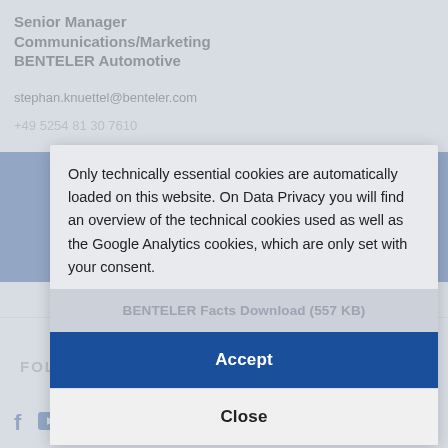Senior Manager Communications/Marketing BENTELER Automotive
stephan.knuettel@benteler.com
+49 5254 81 30 7610
Only technically essential cookies are automatically loaded on this website. On Data Privacy you will find an overview of the technical cookies used as well as the Google Analytics cookies, which are only set with your consent.
BENTELER Facts Download (557 KB)
Accept
Close
FOLLOW BENTELER